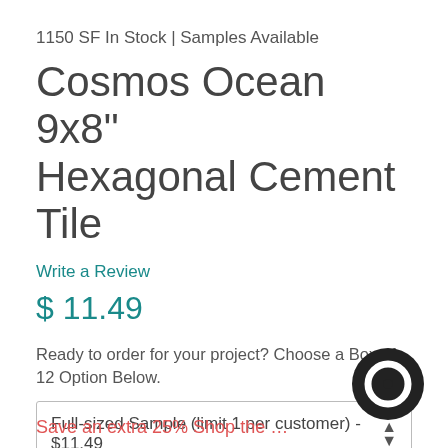1150 SF In Stock | Samples Available
Cosmos Ocean 9x8" Hexagonal Cement Tile
Write a Review
$ 11.49
Ready to order for your project? Choose a Box of 12 Option Below.
Full-sized Sample (limit 1 per customer) - $11.49
Add to Cart